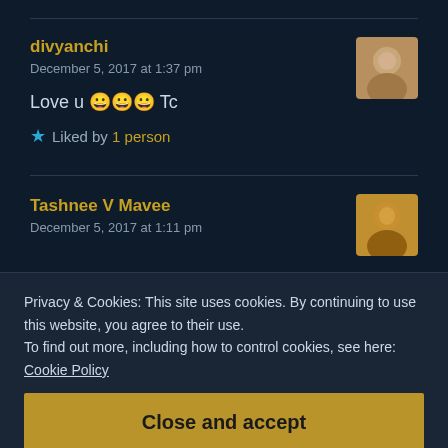divyanchi
December 5, 2017 at 1:37 pm
Love u 😀😀😀 Tc
★ Liked by 1 person
Tashnee V Mavee
December 5, 2017 at 1:11 pm
Privacy & Cookies: This site uses cookies. By continuing to use this website, you agree to their use.
To find out more, including how to control cookies, see here: Cookie Policy
Close and accept